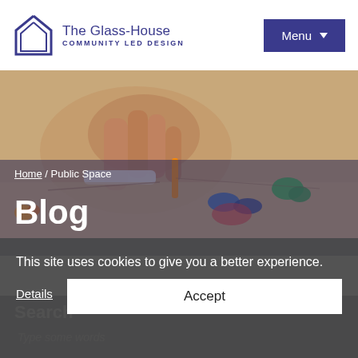[Figure (logo): The Glass-House Community Led Design logo with house outline icon]
Menu
[Figure (photo): Close-up photo of hands doing a craft/design activity on a table with scissors and colorful objects]
Home / Public Space
Blog
This site uses cookies to give you a better experience.
Details
Accept
Search
Type some words